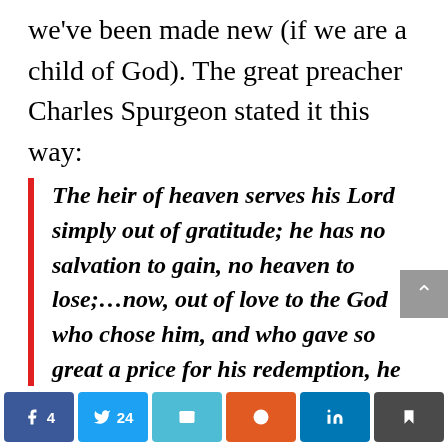we've been made new (if we are a child of God). The great preacher Charles Spurgeon stated it this way:
The heir of heaven serves his Lord simply out of gratitude; he has no salvation to gain, no heaven to lose;…now, out of love to the God who chose him, and who gave so great a price for his redemption, he desires to lay himself entirely to his Master's service. O you who are seeking salvation by the works of the law.
Facebook 4 | Twitter 24 | Email | Reddit | LinkedIn | Bookmark